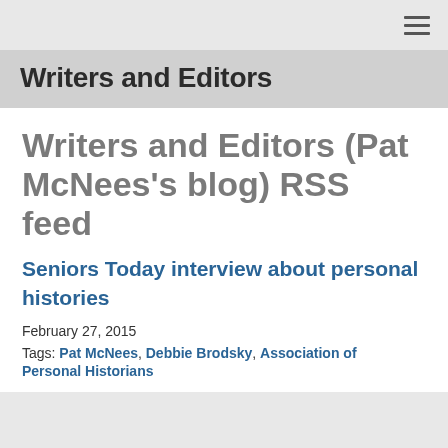≡
Writers and Editors
Writers and Editors (Pat McNees's blog) RSS feed
Seniors Today interview about personal histories
February 27, 2015
Tags: Pat McNees, Debbie Brodsky, Association of Personal Historians